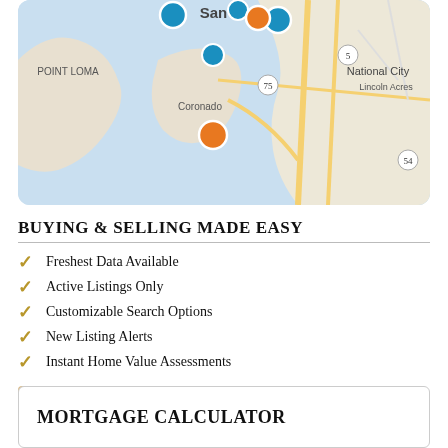[Figure (map): Map of San Diego area showing Point Loma, Coronado, National City, Lincoln Acres with blue and orange property marker pins]
BUYING & SELLING MADE EASY
Freshest Data Available
Active Listings Only
Customizable Search Options
New Listing Alerts
Instant Home Value Assessments
Sign Up
MORTGAGE CALCULATOR